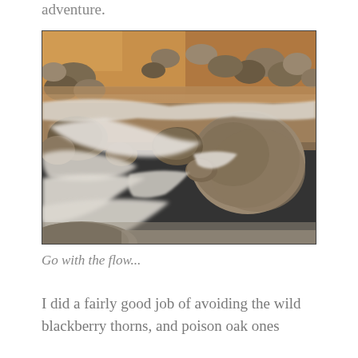adventure.
[Figure (photo): Long-exposure photograph of a rocky mountain stream with silky white flowing water cascading over and around dark wet boulders and stones. The water has a golden-orange hue in the background and misty white blur in the foreground, suggesting a slow shutter speed. Rocks of various sizes are scattered throughout the scene.]
Go with the flow...
I did a fairly good job of avoiding the wild blackberry thorns, and poison oak ones